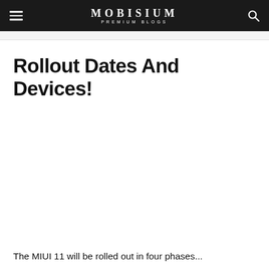MOBISIUM PREMIUM BLOGS
Rollout Dates And Devices!
The MIUI 11 will be rolled out in four phases...